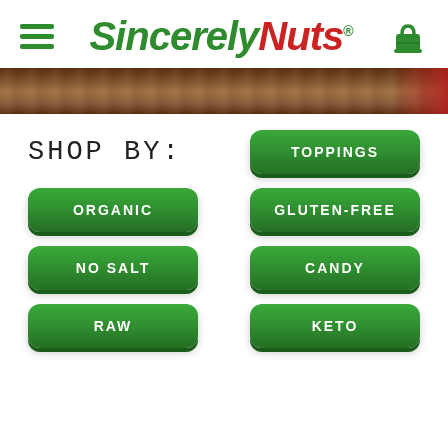[Figure (logo): Sincerely Nuts logo with green hamburger menu icon on left and green shopping bag icon on right]
[Figure (photo): Wooden texture banner strip with red packaging visible on right edge]
SHOP BY:
TOPPINGS
ORGANIC
GLUTEN-FREE
NO SALT
CANDY
RAW
KETO